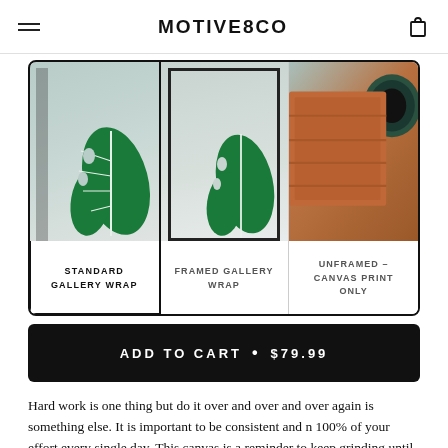MOTIVE8CO
[Figure (photo): Three product options in a bordered card: Standard Gallery Wrap (canvas with monstera leaf), Framed Gallery Wrap (framed canvas with monstera leaf), Unframed - Canvas Print Only (roll of orange/terra cotta vinyl/canvas)]
STANDARD GALLERY WRAP
FRAMED GALLERY WRAP
UNFRAMED – CANVAS PRINT ONLY
ADD TO CART • $79.99
Hard work is one thing but do it over and over and over again is something else. It is important to be consistent and n 100% of your effort every single day. This canvas is a reminder to keep grinding until you reach your goals.